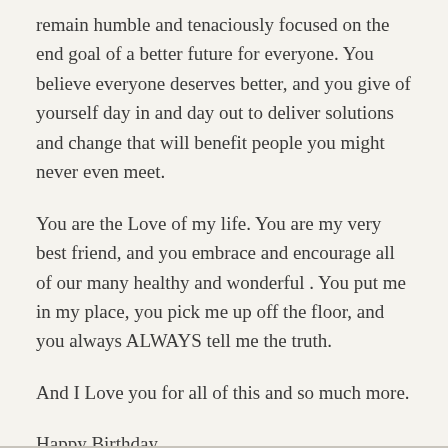remain humble and tenaciously focused on the end goal of a better future for everyone. You believe everyone deserves better, and you give of yourself day in and day out to deliver solutions and change that will benefit people you might never even meet.
You are the Love of my life. You are my very best friend, and you embrace and encourage all of our many healthy and wonderful . You put me in my place, you pick me up off the floor, and you always ALWAYS tell me the truth.
And I Love you for all of this and so much more.
Happy Birthday.